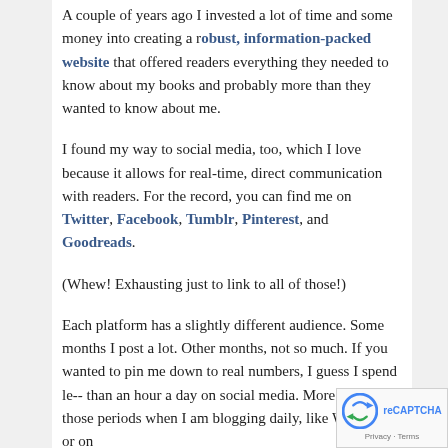A couple of years ago I invested a lot of time and some money into creating a robust, information-packed website that offered readers everything they needed to know about my books and probably more than they wanted to know about me.
I found my way to social media, too, which I love because it allows for real-time, direct communication with readers. For the record, you can find me on Twitter, Facebook, Tumblr, Pinterest, and Goodreads.
(Whew! Exhausting just to link to all of those!)
Each platform has a slightly different audience. Some months I post a lot. Other months, not so much. If you wanted to pin me down to real numbers, I guess I spend less than an hour a day on social media. More during those periods when I am blogging daily, like WFMAD, or on